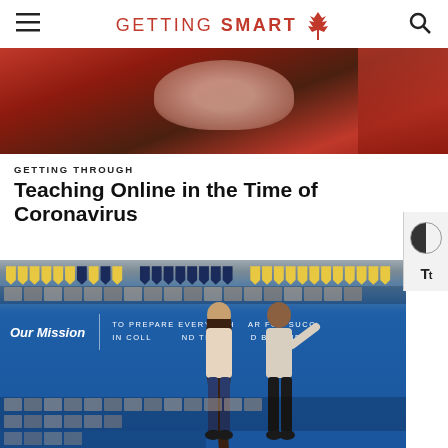GETTING SMART
[Figure (photo): Close-up of a child in a red jacket viewed from behind, working at a desk with a device]
GETTING THROUGH
Teaching Online in the Time of Coronavirus
[Figure (photo): Two students standing in front of a large interactive display board in a school hallway. The board shows 'Our Mission | TO PREPARE EVERY SCHOLAR FOR SUCCESS IN COLLEGE AND THE WORLD BEYOND'. Decorative pennant banners hang above and student photos are displayed on the board.]